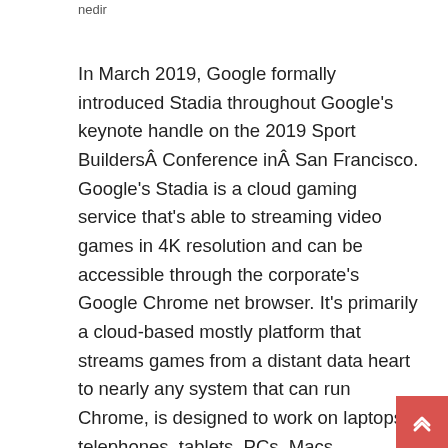nedir
In March 2019, Google formally introduced Stadia throughout Google's keynote handle on the 2019 Sport BuildersÂ Conference inÂ San Francisco. Google's Stadia is a cloud gaming service that's able to streaming video games in 4K resolution and can be accessible through the corporate's Google Chrome net browser. It's primarily a cloud-based mostly platform that streams games from a distant data heart to nearly any system that can run Chrome, is designed to work on laptops, telephones, tablets, PCs, Macs, Chromebooks, and TVs with Chromecast. Todas las noticias, videos gameplay, imÃ¡genes, fecha de lanzamiento, anÃ¡lisis, opiniones, guÃas y trucos sobre stadia en 3djuegos. We have designed the Stadia Controller to work greatest on